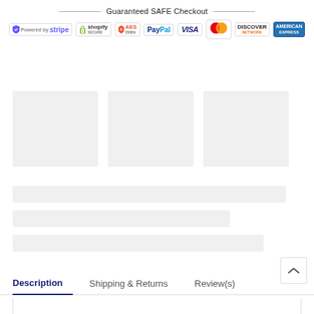[Figure (infographic): Guaranteed SAFE Checkout banner with payment method logos: Stripe, Shopify Secure, AES 256Bit, PayPal, VISA, Mastercard, Discover Network, American Express]
[Figure (other): Three placeholder image boxes (skeleton loading state)]
[Figure (other): Three skeleton text placeholder bars]
Description   Shipping & Returns   Review(s)